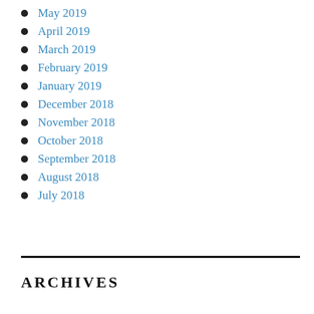May 2019
April 2019
March 2019
February 2019
January 2019
December 2018
November 2018
October 2018
September 2018
August 2018
July 2018
ARCHIVES